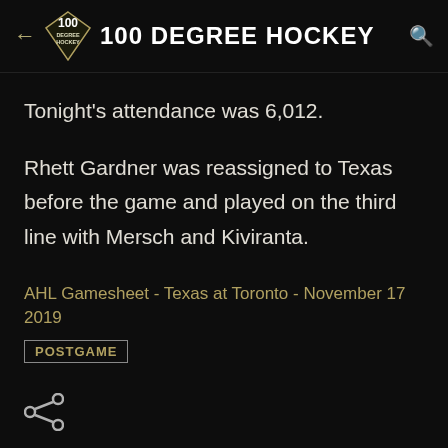100 DEGREE HOCKEY
Tonight's attendance was 6,012.
Rhett Gardner was reassigned to Texas before the game and played on the third line with Mersch and Kiviranta.
AHL Gamesheet - Texas at Toronto - November 17 2019
POSTGAME